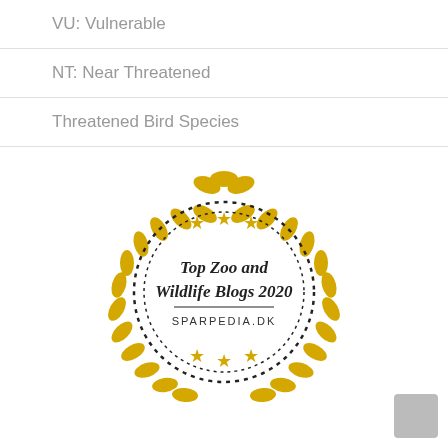VU: Vulnerable
NT: Near Threatened
Threatened Bird Species
[Figure (logo): Circular laurel wreath badge with text 'Top Zoo and Wildlife Blogs 2020' and 'SPARPEDIA.DK' with stars, in gold and black on white background]